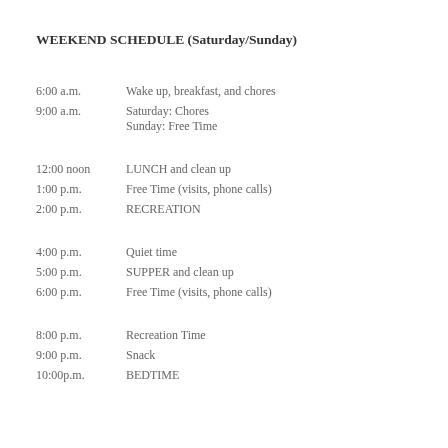WEEKEND SCHEDULE (Saturday/Sunday)
6:00 a.m. — Wake up, breakfast, and chores
9:00 a.m. — Saturday: Chores / Sunday: Free Time
12:00 noon — LUNCH and clean up
1:00 p.m. — Free Time (visits, phone calls)
2:00 p.m. — RECREATION
4:00 p.m. — Quiet time
5:00 p.m. — SUPPER and clean up
6:00 p.m. — Free Time (visits, phone calls)
8:00 p.m. — Recreation Time
9:00 p.m. — Snack
10:00p.m. — BEDTIME